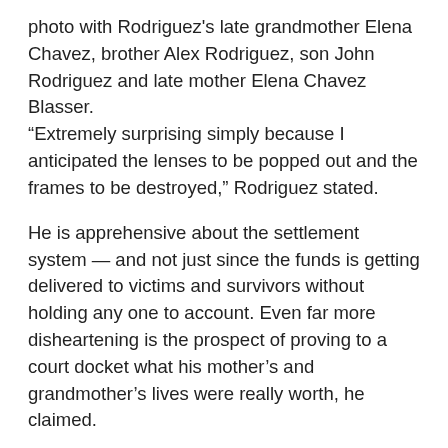photo with Rodriguez's late grandmother Elena Chavez, brother Alex Rodriguez, son John Rodriguez and late mother Elena Chavez Blasser. "Extremely surprising simply because I anticipated the lenses to be popped out and the frames to be destroyed," Rodriguez stated.
He is apprehensive about the settlement system — and not just since the funds is getting delivered to victims and survivors without holding any one to account. Even far more disheartening is the prospect of proving to a court docket what his mother's and grandmother's lives were really worth, he claimed.
Florida legislation establishes limitations on what small children and extended family users can gather — which Rodriguez, a lawyer, finds "particularly antiquated and out of contact with truth," particularly in a mass casualty